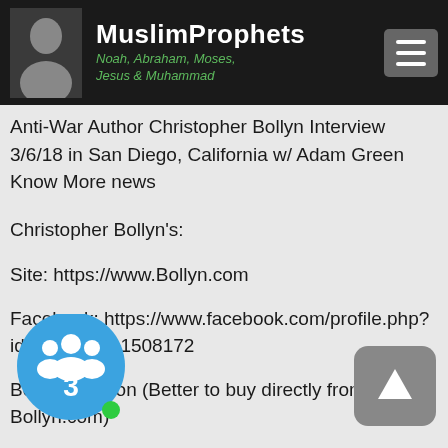MuslimProphets — Noah, Abraham, Moses, Jesus & Muhammad
Anti-War Author Christopher Bollyn Interview 3/6/18 in San Diego, California w/ Adam Green Know More news
Christopher Bollyn's:
Site: https://www.Bollyn.com
Facebook: https://www.facebook.com/profile.php?id=100005111508172
Books Amazon (Better to buy directly from Bollyn.com)
"Solving 9/11: The Deception That Changed the World"